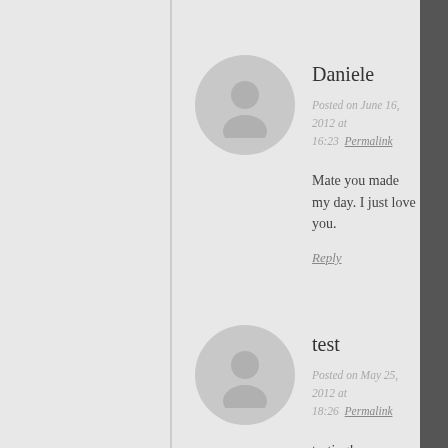Daniele
Posted on June 16, 2012 at 16:23  Permalink
Mate you made my day. I just love you.
Reply
test
Posted on May 25, 2012 at 18:26  Permalink
testing!
Reply